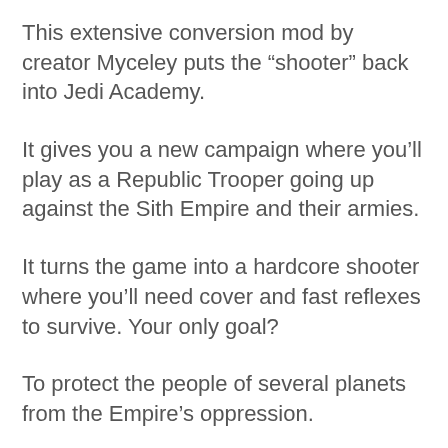This extensive conversion mod by creator Myceley puts the “shooter” back into Jedi Academy.
It gives you a new campaign where you’ll play as a Republic Trooper going up against the Sith Empire and their armies.
It turns the game into a hardcore shooter where you’ll need cover and fast reflexes to survive. Your only goal?
To protect the people of several planets from the Empire’s oppression.